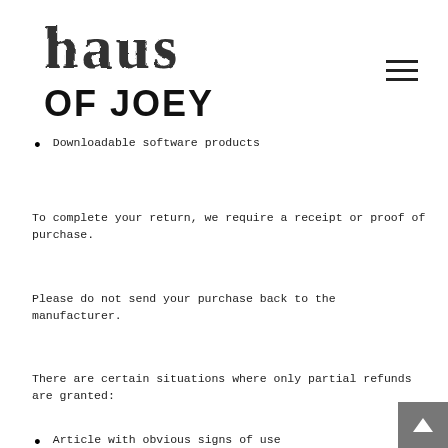[Figure (logo): Haus of Joey logo with hand-drawn/sketchy lettering for 'haus' and bold sans-serif 'OF JOEY' below]
Downloadable software products
To complete your return, we require a receipt or proof of purchase.
Please do not send your purchase back to the manufacturer.
There are certain situations where only partial refunds are granted:
Article with obvious signs of use
Any item not in its original condition, is damaged or missing parts for reasons not due to our error.